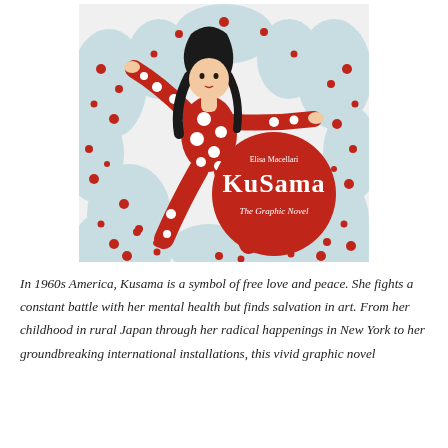[Figure (illustration): Book cover of 'Kusama: The Graphic Novel' by Elisa Macellari. A woman in a red polka-dot bodysuit is surrounded by white, red-dotted organic shapes. A large red circle in the lower right contains the author name 'Elisa Macellari', the title 'KuSama' in large white serif font, and subtitle 'The Graphic Novel'.]
In 1960s America, Kusama is a symbol of free love and peace. She fights a constant battle with her mental health but finds salvation in art. From her childhood in rural Japan through her radical happenings in New York to her groundbreaking international installations, this vivid graphic novel